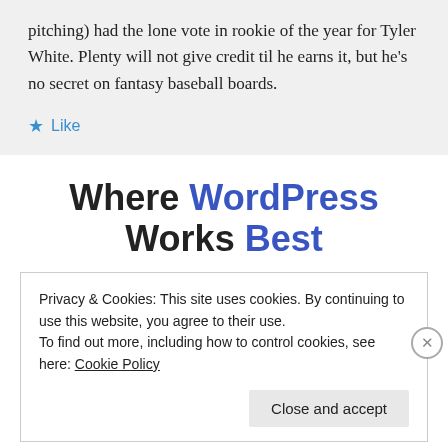pitching) had the lone vote in rookie of the year for Tyler White. Plenty will not give credit til he earns it, but he's no secret on fantasy baseball boards.
★ Like
Where WordPress Works Best
Privacy & Cookies: This site uses cookies. By continuing to use this website, you agree to their use.
To find out more, including how to control cookies, see here: Cookie Policy
Close and accept